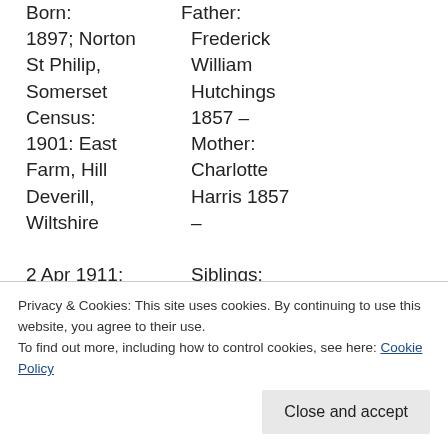Born: 1897; Norton St Philip, Somerset Census: 1901: East Farm, Hill Deverill, Wiltshire 2 Apr 1911: Sheperds Hill, Somerley Ringwood,
Father: Frederick William Hutchings 1857 – Mother: Charlotte Harris 1857 – Siblings: Samuel William
Privacy & Cookies: This site uses cookies. By continuing to use this website, you agree to their use. To find out more, including how to control cookies, see here: Cookie Policy
Close and accept
Winifred